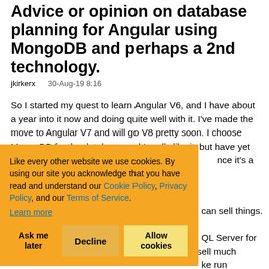Advice or opinion on database planning for Angular using MongoDB and perhaps a 2nd technology.
jkirkerx   30-Aug-19 8:16
So I started my quest to learn Angular V6, and I have about a year into it now and doing quite well with it. I've made the move to Angular V7 and will go V8 pretty soon. I choose MongoDB for the database and I really like it, but have yet to do anything advanced with it. Well I just [...]nce it's a NoSQL [...] can sell things. QL Server for ke run d images, store the eBase and CosmoDB out there as well. I don't expect to sell much
Like every other website we use cookies. By using our site you acknowledge that you have read and understand our Cookie Policy, Privacy Policy, and our Terms of Service. Learn more